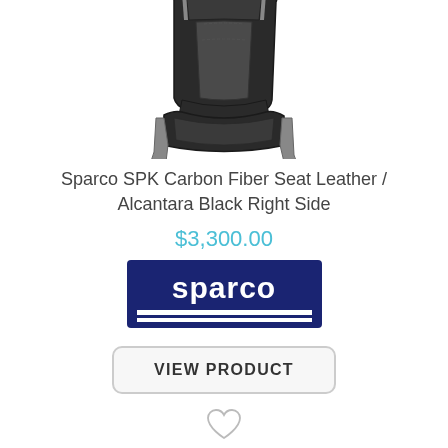[Figure (photo): Sparco racing seat, black leather/alcantara, right side view, shown at an angle on white background]
Sparco SPK Carbon Fiber Seat Leather / Alcantara Black Right Side
$3,300.00
[Figure (logo): Sparco brand logo — white text on navy/dark blue background with two horizontal lines underneath]
VIEW PRODUCT
[Figure (other): Heart/wishlist icon outline]